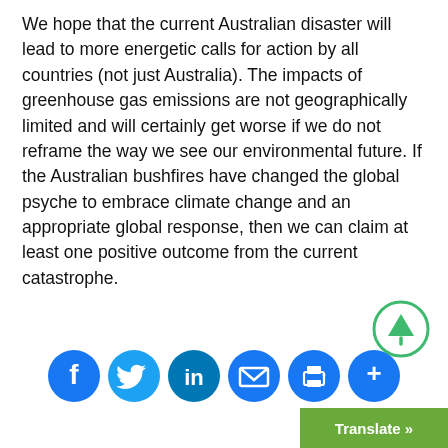We hope that the current Australian disaster will lead to more energetic calls for action by all countries (not just Australia). The impacts of greenhouse gas emissions are not geographically limited and will certainly get worse if we do not reframe the way we see our environmental future. If the Australian bushfires have changed the global psyche to embrace climate change and an appropriate global response, then we can claim at least one positive outcome from the current catastrophe.
[Figure (infographic): Row of social media sharing icons (Facebook, Twitter, LinkedIn, Email, Print, More) and a green scroll-up circle button. A green 'Translate »' button appears in the bottom right corner.]